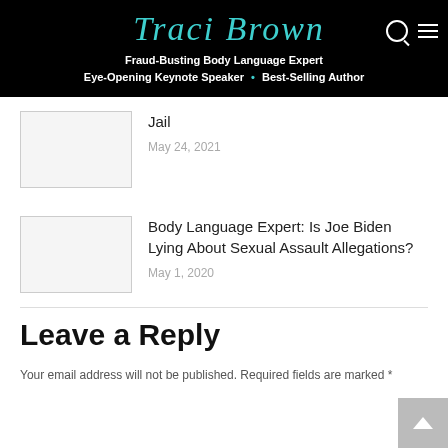Traci Brown — Fraud-Busting Body Language Expert, Eye-Opening Keynote Speaker • Best-Selling Author
Jail
May 24, 2021
Body Language Expert: Is Joe Biden Lying About Sexual Assault Allegations?
May 1, 2020
Leave a Reply
Your email address will not be published. Required fields are marked *